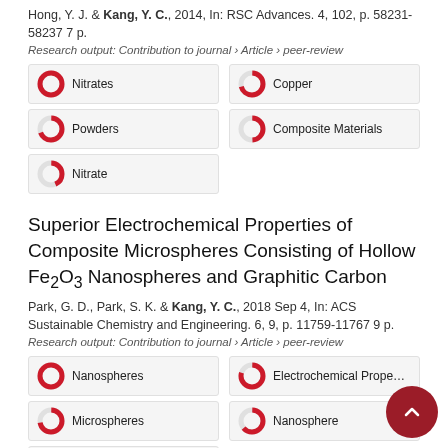Hong, Y. J. & Kang, Y. C., 2014, In: RSC Advances. 4, 102, p. 58231-58237 7 p.
Research output: Contribution to journal › Article › peer-review
Nitrates
Copper
Powders
Composite Materials
Nitrate
Superior Electrochemical Properties of Composite Microspheres Consisting of Hollow Fe₂O₃ Nanospheres and Graphitic Carbon
Park, G. D., Park, S. K. & Kang, Y. C., 2018 Sep 4, In: ACS Sustainable Chemistry and Engineering. 6, 9, p. 11759-11767 9 p.
Research output: Contribution to journal › Article › peer-review
Nanospheres
Electrochemical Properties
Microspheres
Nanosphere
Microsphere